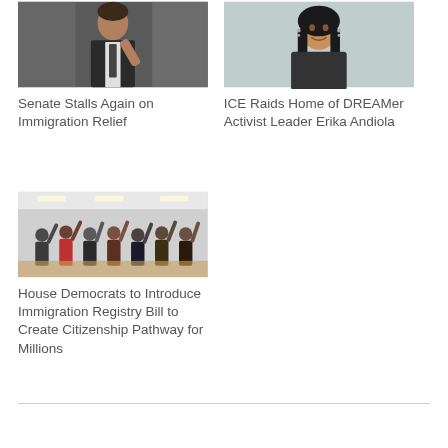[Figure (photo): Man in suit speaking at a hearing, pointing with his hand]
Senate Stalls Again on Immigration Relief
[Figure (photo): Young woman with long dark hair smiling, portrait photo]
ICE Raids Home of DREAMer Activist Leader Erika Andiola
[Figure (photo): Group of people in a room raising their hands in an oath ceremony]
House Democrats to Introduce Immigration Registry Bill to Create Citizenship Pathway for Millions